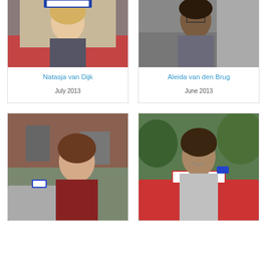[Figure (photo): Young blonde woman standing by a red car with a driving school sign on top]
Natasja van Dijk
July 2013
[Figure (photo): Woman with glasses smiling, standing by a grey car door]
Aleida van den Brug
June 2013
[Figure (photo): Young man in red shirt standing near a car with a driving school L sign]
[Figure (photo): Young man with curly hair smiling, standing in front of a red R&B driving school car]